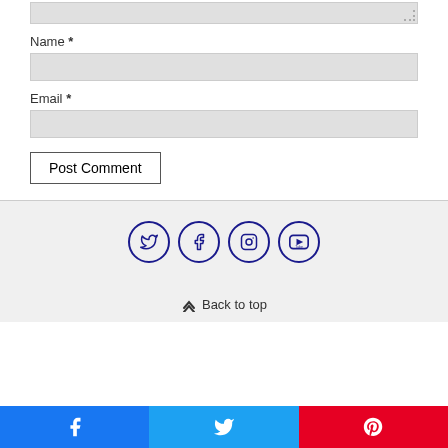[Figure (screenshot): Textarea input box (top portion of comment form) with resize handle in bottom-right corner]
Name *
[Figure (screenshot): Name text input field (light gray background)]
Email *
[Figure (screenshot): Email text input field (light gray background)]
[Figure (screenshot): Post Comment button]
[Figure (screenshot): Social media icons row: Twitter, Facebook, Instagram, YouTube — each in a circle with dark blue border]
⌃ Back to top
[Figure (screenshot): Share bar with three buttons: Facebook (blue), Twitter (light blue), Pinterest (red)]